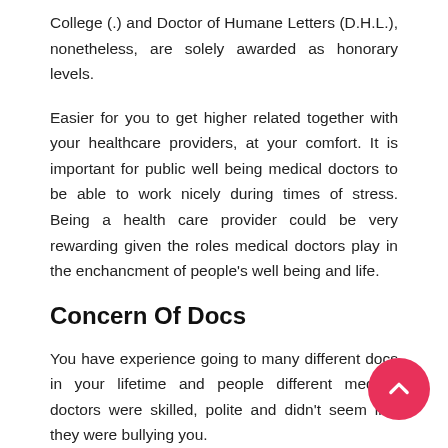College (.) and Doctor of Humane Letters (D.H.L.), nonetheless, are solely awarded as honorary levels.
Easier for you to get higher related together with your healthcare providers, at your comfort. It is important for public well being medical doctors to be able to work nicely during times of stress. Being a health care provider could be very rewarding given the roles medical doctors play in the enchancment of people's well being and life.
Concern Of Docs
You have experience going to many different docs in your lifetime and people different medical doctors were skilled, polite and didn't seem like they were bullying you.
Right this moment, medical tools expertise is